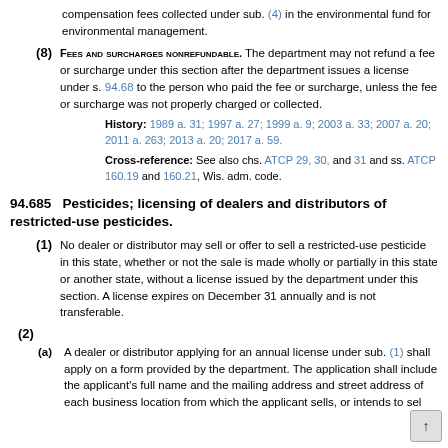compensation fees collected under sub. (4) in the environmental fund for environmental management.
(8) FEES AND SURCHARGES NONREFUNDABLE. The department may not refund a fee or surcharge under this section after the department issues a license under s. 94.68 to the person who paid the fee or surcharge, unless the fee or surcharge was not properly charged or collected.
History: 1989 a. 31; 1997 a. 27; 1999 a. 9; 2003 a. 33; 2007 a. 20; 2011 a. 263; 2013 a. 20; 2017 a. 59.
Cross-reference: See also chs. ATCP 29, 30, and 31 and ss. ATCP 160.19 and 160.21, Wis. adm. code.
94.685 Pesticides; licensing of dealers and distributors of restricted-use pesticides.
(1) No dealer or distributor may sell or offer to sell a restricted-use pesticide in this state, whether or not the sale is made wholly or partially in this state or another state, without a license issued by the department under this section. A license expires on December 31 annually and is not transferable.
(2)
(a) A dealer or distributor applying for an annual license under sub. (1) shall apply on a form provided by the department. The application shall include the applicant's full name and the mailing address and street address of each business location from which the applicant sells, or intends to sel